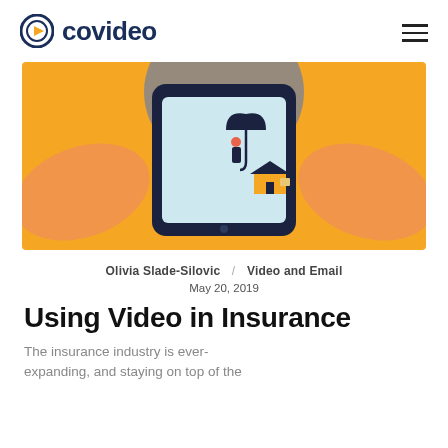covideo
[Figure (illustration): Illustration of two orange hands holding a smartphone. On the smartphone screen is a person holding an umbrella standing next to a house, suggesting insurance. Background is orange with a grey/blue umbrella shape behind the phone.]
Olivia Slade-Silovic / Video and Email
May 20, 2019
Using Video in Insurance
The insurance industry is ever-expanding, and staying on top of the